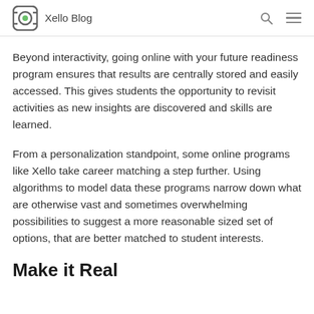Xello Blog
Beyond interactivity, going online with your future readiness program ensures that results are centrally stored and easily accessed. This gives students the opportunity to revisit activities as new insights are discovered and skills are learned.
From a personalization standpoint, some online programs like Xello take career matching a step further. Using algorithms to model data these programs narrow down what are otherwise vast and sometimes overwhelming possibilities to suggest a more reasonable sized set of options, that are better matched to student interests.
Make it Real